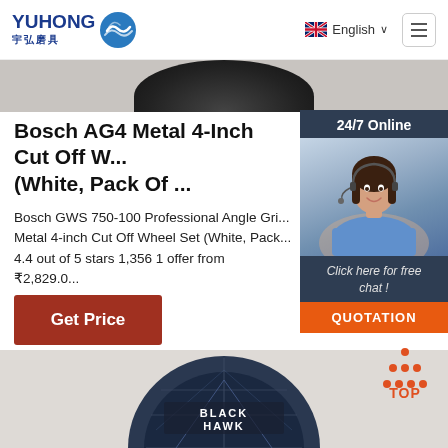YUHONG 宇弘磨具 | English
Bosch AG4 Metal 4-Inch Cut Off W... (White, Pack Of ...
Bosch GWS 750-100 Professional Angle Gri... Metal 4-inch Cut Off Wheel Set (White, Pack... 4.4 out of 5 stars 1,356 1 offer from ₹2,829.0...
Get Price
[Figure (photo): 24/7 Online chat widget with woman customer service representative wearing headset, dark navy background, 'Click here for free chat!' text, and orange QUOTATION button]
[Figure (photo): Bottom circular cutting disc product image with BLACK HAWK text label]
[Figure (logo): TOP scroll-to-top button with orange dots triangle icon above orange TOP text]